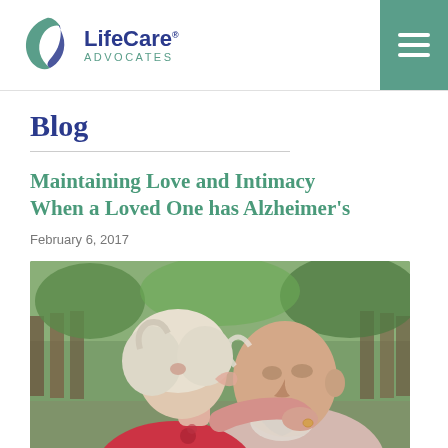LifeCare Advocates
Blog
Maintaining Love and Intimacy When a Loved One has Alzheimer's
February 6, 2017
[Figure (photo): An elderly woman in a red shirt leans over and kisses an elderly man on the cheek, embracing him from behind. They are outdoors with a wooden fence and green trees in the background.]